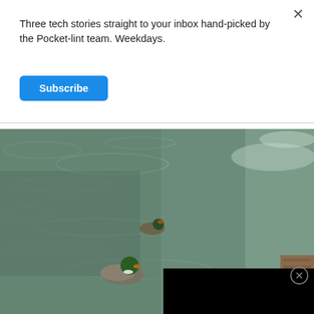Three tech stories straight to your inbox hand-picked by the Pocket-lint team. Weekdays.
Subscribe
[Figure (photo): Two mallard ducks swimming in a pond with rippling water surface. A video player overlay (black rectangle) covers part of the upper right. An advertisement card at the bottom shows Dulles store info: OPEN 10AM-8PM, 45575 Dulles Eastern Plaza, Suite 171, D]
Dulles  OPEN  10AM-8PM
45575 Dulles Eastern Plaza, Suite 171, D